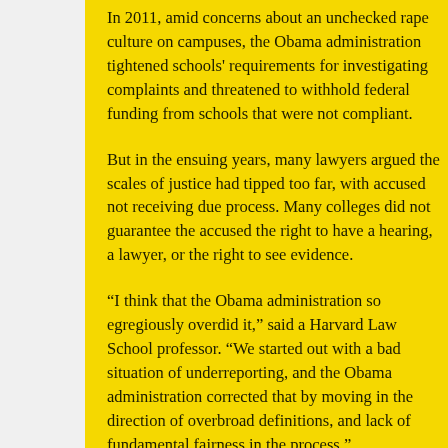In 2011, amid concerns about an unchecked rape culture on campuses, the Obama administration tightened schools' requirements for investigating complaints and threatened to withhold federal funding from schools that were not compliant.
But in the ensuing years, many lawyers argued the scales of justice had tipped too far, with accused not receiving due process. Many colleges did not guarantee the accused the right to have a hearing, a lawyer, or the right to see evidence.
“I think that the Obama administration so egregiously overdid it,” said a Harvard Law School professor. “We started out with a bad situation of underreporting, and the Obama administration corrected that by moving in the direction of overbroad definitions, and lack of fundamental fairness in the process.”
The changes proposed by DeVos would require colleges to hold a hearing and weigh evidence in any sexual assault allegation. Many schools had adopted the single-investigator model, in which an employee or professional hired by the Title IX office investigates.
In addition, under DeVos’s revisions, a student accused of sexual misconduct who is unrepresented by a lawyer; the university would have to appoint an adviser.
The draft rule DeVos proposed is up for public comment through January 28.
Read more at: